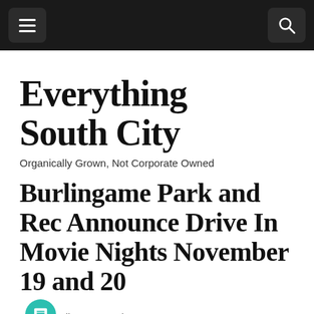Navigation bar with hamburger menu and search icon
Everything South City
Organically Grown, Not Corporate Owned
Burlingame Park and Rec Announce Drive In Movie Nights November 19 and 20
Editor • November 16, 2020